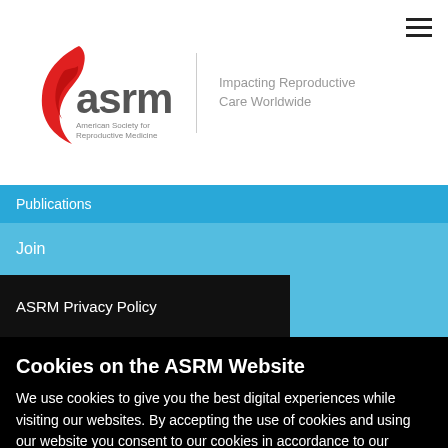[Figure (logo): ASRM logo — red flame swoosh with 'asrm' text and 'American Society for Reproductive Medicine' below, with divider and tagline 'Impacting Reproductive Care Worldwide']
Publications
Join
ASRM Privacy Policy
Cookies on the ASRM Website
We use cookies to give you the best digital experiences while visiting our websites. By accepting the use of cookies and using our website you consent to our cookies in accordance to our privacy policy. ASRM Members: We use Cookies as part of our digital membership experience. By clicking "Decline Cookies", you will encounter problems accessing member-only content.
Privacy Policy   Cookie Policy
Decline Cookies    OK